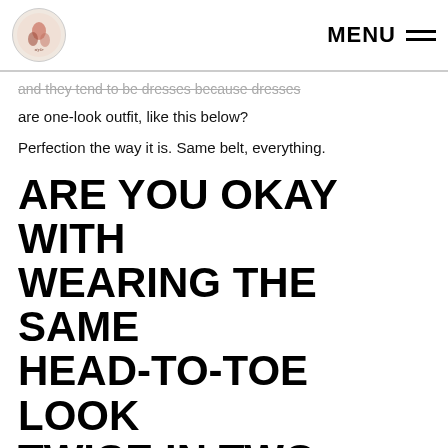MENU
and they tend to be dresses because dresses are one-look outfit, like this below?
Perfection the way it is. Same belt, everything.
ARE YOU OKAY WITH WEARING THE SAME HEAD-TO-TOE LOOK TWICE IN TWO WEEKS?
Yes. Not daily, but I can wear it two days in a row (see above regarding laziness).
I may switch up the accessories to be different but not much beyond that.